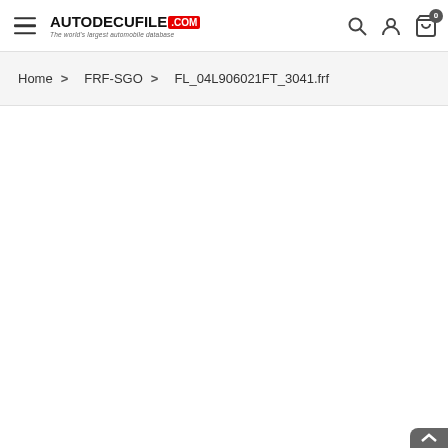AUTODECUFILE.com — The world's largest automobile database
Home > FRF-SGO > FL_04L906021FT_3041.frf